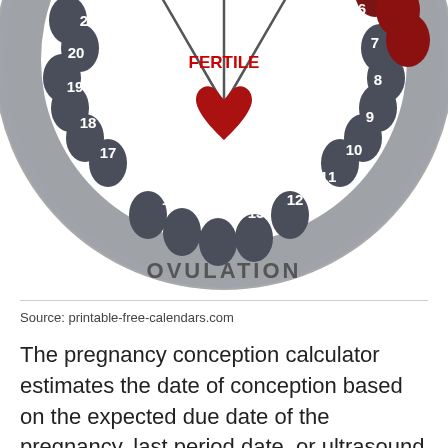[Figure (infographic): Circular menstrual cycle diagram showing numbered days 6-22 visible, with sections labeled INFERTILE, PROBABLY INFERTILE, FERTILE, and OVULATION. Gray circles around the ring represent cycle days; red circles indicate probably infertile days near day 6-7; a red heart in the center bottom marks ovulation around days 13-15. Day numbers are shown in white text on the gray ring.]
Source: printable-free-calendars.com
The pregnancy conception calculator estimates the date of conception based on the expected due date of the pregnancy, last period date, or ultrasound date.